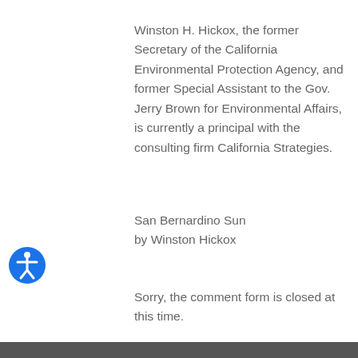Winston H. Hickox, the former Secretary of the California Environmental Protection Agency, and former Special Assistant to the Gov. Jerry Brown for Environmental Affairs, is currently a principal with the consulting firm California Strategies.
San Bernardino Sun
by Winston Hickox
Sorry, the comment form is closed at this time.
[Figure (other): Blue circular accessibility icon with a human figure symbol]
[Figure (other): Light grey circular scroll-to-top button with upward arrow]